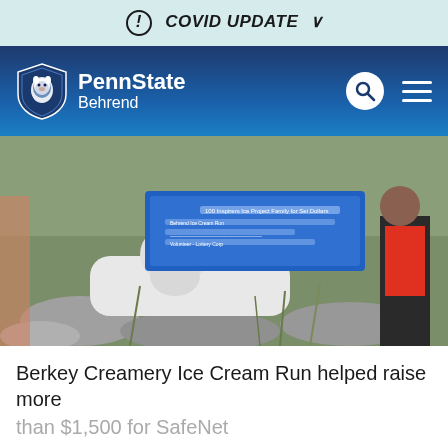ⓘ COVID UPDATE ∨
[Figure (logo): Penn State Behrend navigation bar with lion shield logo, search icon, and hamburger menu on dark blue gradient background]
[Figure (photo): Outdoor scene showing a white nittany lion statue holding a large blue check, with a person standing in the background among rocks and vegetation]
Berkey Creamery Ice Cream Run helped raise more than $1,500 for SafeNet
EXPAND +
Sweet rewards